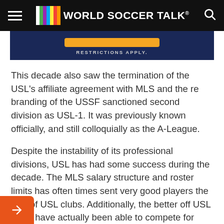WORLD SOCCER TALK
[Figure (other): Advertisement banner with orange button and text RESTRICTIONS APPLY.]
This decade also saw the termination of the USL's affiliate agreement with MLS and the re branding of the USSF sanctioned second division as USL-1. It was previously known officially, and still colloquially as the A-League.
Despite the instability of its professional divisions, USL has had some success during the decade. The MLS salary structure and roster limits has often times sent very good players the way of USL clubs. Additionally, the better off USL clubs have actually been able to compete for midlevel players with some MLS teams.